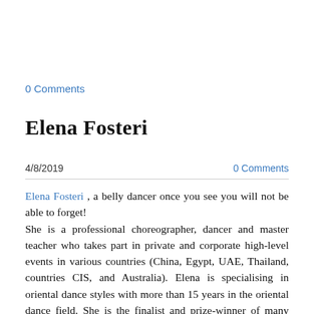0 Comments
Elena Fosteri
4/8/2019   0 Comments
Elena Fosteri , a belly dancer once you see you will not be able to forget!
She is a professional choreographer, dancer and master teacher who takes part in private and corporate high-level events in various countries (China, Egypt, UAE, Thailand, countries CIS, and Australia). Elena is specialising in oriental dance styles with more than 15 years in the oriental dance field. She is the finalist and prize-winner of many prestigious competitions and belly dance festivals in Ukraine, Belarus, Russia, Italy, Egypt, UAE and Australia. We are extremely lucky to have such